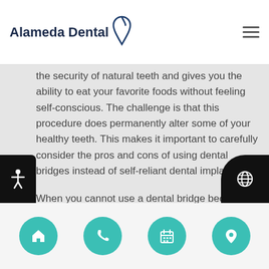Alameda Dental
the security of natural teeth and gives you the ability to eat your favorite foods without feeling self-conscious. The challenge is that this procedure does permanently alter some of your healthy teeth. This makes it important to carefully consider the pros and cons of using dental bridges instead of self-reliant dental implants.
When you cannot use a dental bridge because you do not have the teeth to support it, your options then become dental implants or dentures. At Alameda Dental, we see this as a possibility when other teeth are unhealthy and
Home | Phone | Calendar | Location